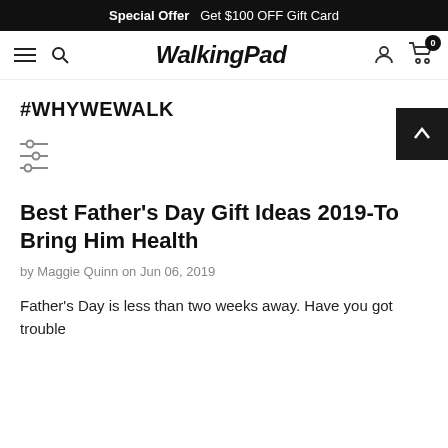Special Offer   Get $100 OFF Gift Card
WalkingPad — navigation bar
#WHYWEWALK
Best Father's Day Gift Ideas 2019-To Bring Him Health
by Maggie Quinn on Jun 06, 2019
Father's Day is less than two weeks away. Have you got trouble